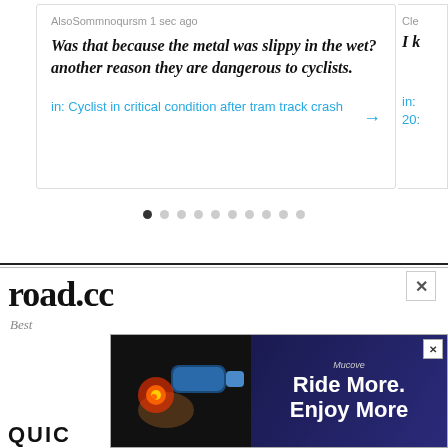AlsoSommnoqursm 1 sec ago
Was that because the metal was slippy in the wet? another reason they are dangerous to cyclists.
in: Cyclist in critical condition after tram track crash →
Cle
I k
in: 20:
[Figure (screenshot): Pagination dots — one filled dark, nine empty circles]
[Figure (screenshot): Website logo partially visible showing 'road.cc' text, tagline 'Best...', QUICK label, overlaid by advertisement banner reading 'Ride More. Enjoy More' with cycling light product image]
Best
QUIC